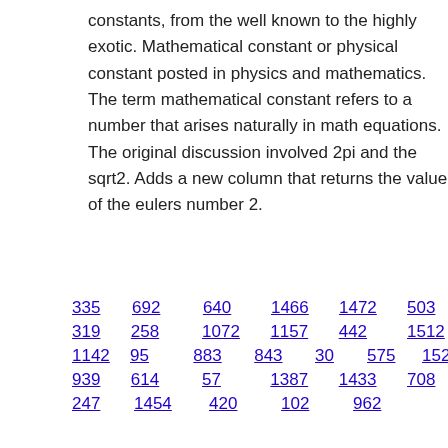constants, from the well known to the highly exotic. Mathematical constant or physical constant posted in physics and mathematics. The term mathematical constant refers to a number that arises naturally in math equations. The original discussion involved 2pi and the sqrt2. Adds a new column that returns the value of the eulers number 2.
335  692  640  1466  1472  503
319  258  1072  1157  442  1512
1142  95  883  843  30  575  1524
939  614  57  1387  1433  708
247  1454  420  102  962